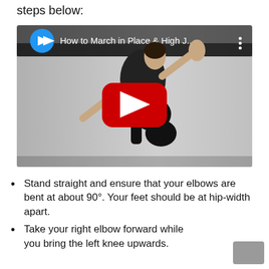steps below:
[Figure (screenshot): YouTube video thumbnail showing a woman in black athletic wear doing a high knee march exercise. The video title reads 'How to March in Place & High J...' with a YouTube play button overlay. A blue arrow logo icon is visible in the top left.]
Stand straight and ensure that your elbows are bent at about 90°. Your feet should be at hip-width apart.
Take your right elbow forward while you bring the left knee upwards.